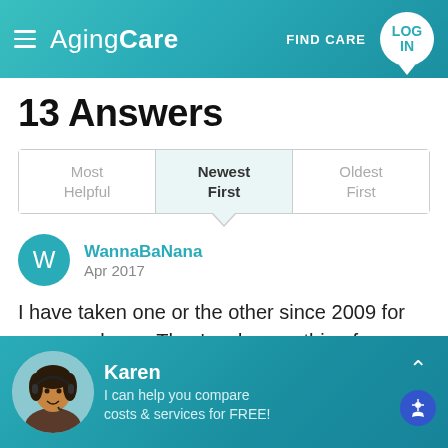[Figure (screenshot): AgingCare website header with logo, hamburger menu, FIND CARE text, and LOG IN button in teal gradient]
13 Answers
Sort tabs: Most Helpful | Newest First (selected) | Oldest First
WannaBaNana
Apr 2017
I have taken one or the other since 2009 for my narcalepsy. They've done nothing for my lousy memory nor have I heard of them used for any non
[Figure (photo): Bottom banner: Karen agent photo, name, and description saying 'I can help you compare costs & services for FREE!']